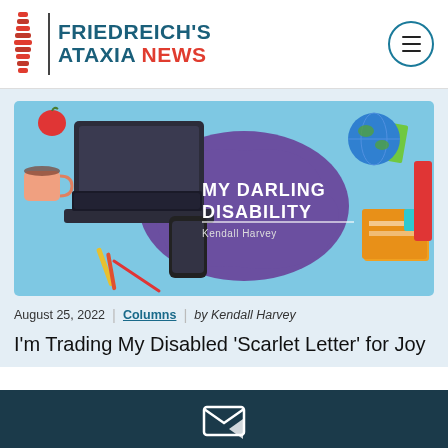FRIEDREICH'S ATAXIA NEWS
[Figure (illustration): My Darling Disability column banner by Kendall Harvey — illustrated scene of a desk with laptop, keyboard, phone, books, coffee cup, globe, and colorful office items on a light blue background, with a purple splash shape bearing the column title 'MY DARLING DISABILITY' and author name 'Kendall Harvey']
August 25, 2022 | Columns | by Kendall Harvey
I'm Trading My Disabled 'Scarlet Letter' for Joy